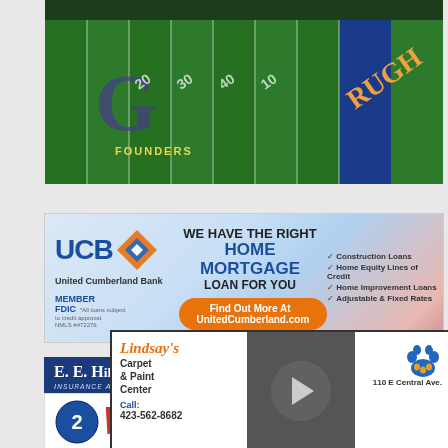[Figure (photo): Aerial view of a football field with purple and gold team logos, yard lines visible, end zone markings]
[Figure (photo): UCB United Cumberland Bank advertisement banner: WE HAVE THE RIGHT HOME MORTGAGE LOAN FOR YOU. Construction Loans, Home Equity Lines of Credit, Home Improvement Loans, Adjustable & Fixed Rates. Find Out More At UnitedCumberland.com. Member FDIC. All loans subject to credit approval. NMLS #472276]
[Figure (photo): E. E. Hill & Son, Inc. Insurance Agents Since 1925 advertisement. www.EEHILL.com. 423-562-2112. 701 W Central Ave, La Follette TN 37766. Life • Home • Car • Business. Good Insurance for EVERY Person. HOME & AUTO.]
[Figure (photo): Lindsay's Carpet & Paint Center popup video player overlay. Call: 423-562-8682. 110 E Central Ave. Blue paw print logo. Play button shown on video thumbnail.]